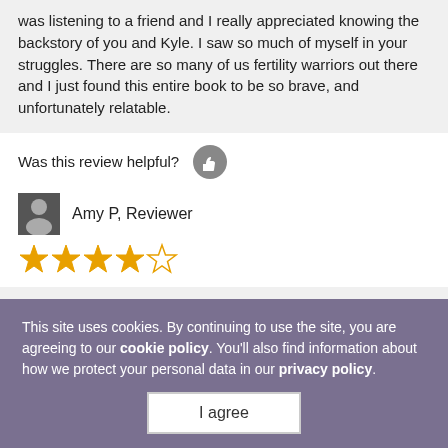was listening to a friend and I really appreciated knowing the backstory of you and Kyle. I saw so much of myself in your struggles. There are so many of us fertility warriors out there and I just found this entire book to be so brave, and unfortunately relatable.
Was this review helpful?
Amy P, Reviewer
[Figure (other): 4 out of 5 stars rating]
I deeply admire Samantha Busch's bravery in pulling
This site uses cookies. By continuing to use the site, you are agreeing to our cookie policy. You'll also find information about how we protect your personal data in our privacy policy
I agree